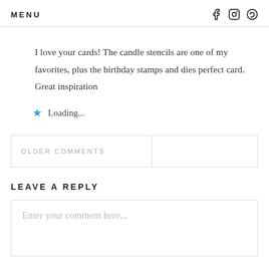MENU   f  IG  P
I love your cards! The candle stencils are one of my favorites, plus the birthday stamps and dies perfect card. Great inspiration
★ Loading...
OLDER COMMENTS
LEAVE A REPLY
Enter your comment here...